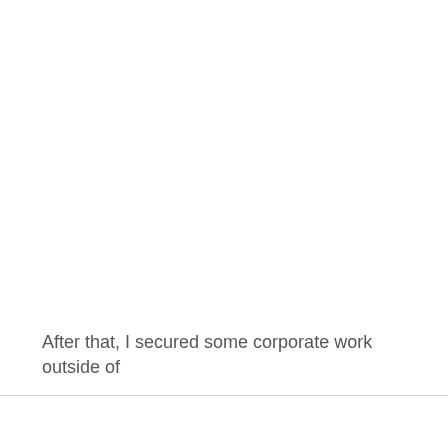After that, I secured some corporate work outside of